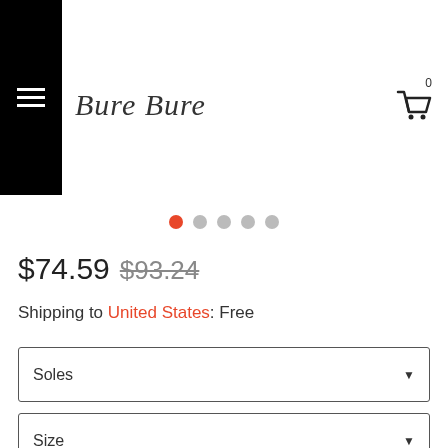Bure Bure
[Figure (other): Image carousel pagination dots, 5 dots with first dot active (orange)]
$74.59 $93.24
Shipping to United States: Free
Soles
Size